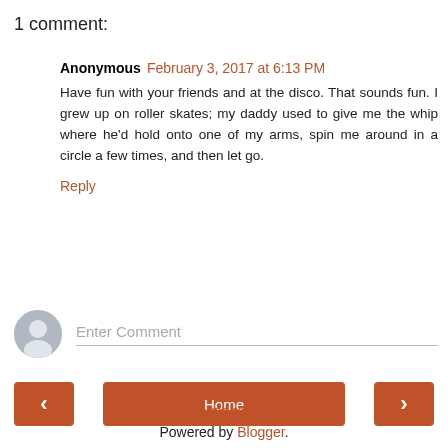1 comment:
Anonymous February 3, 2017 at 6:13 PM
Have fun with your friends and at the disco. That sounds fun. I grew up on roller skates; my daddy used to give me the whip where he'd hold onto one of my arms, spin me around in a circle a few times, and then let go.
Reply
Enter Comment
Home
View web version
Powered by Blogger.